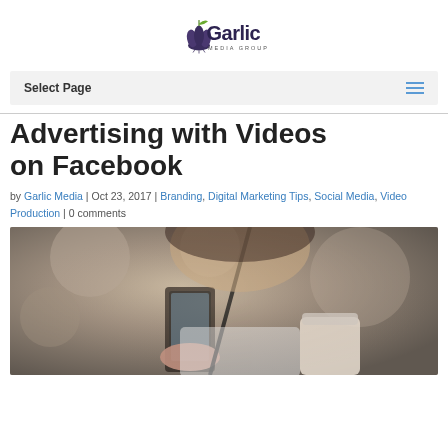[Figure (logo): Garlic Media Group logo with garlic bulb icon and text]
Select Page
Advertising with Videos on Facebook
by Garlic Media | Oct 23, 2017 | Branding, Digital Marketing Tips, Social Media, Video Production | 0 comments
[Figure (photo): Woman looking at smartphone while drinking from a straw, blurred café background]